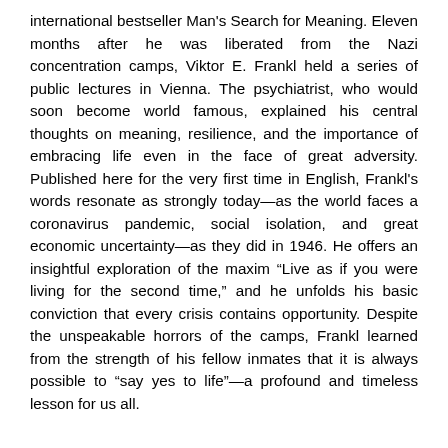international bestseller Man's Search for Meaning. Eleven months after he was liberated from the Nazi concentration camps, Viktor E. Frankl held a series of public lectures in Vienna. The psychiatrist, who would soon become world famous, explained his central thoughts on meaning, resilience, and the importance of embracing life even in the face of great adversity. Published here for the very first time in English, Frankl's words resonate as strongly today—as the world faces a coronavirus pandemic, social isolation, and great economic uncertainty—as they did in 1946. He offers an insightful exploration of the maxim “Live as if you were living for the second time,” and he unfolds his basic conviction that every crisis contains opportunity. Despite the unspeakable horrors of the camps, Frankl learned from the strength of his fellow inmates that it is always possible to “say yes to life”—a profound and timeless lesson for us all.